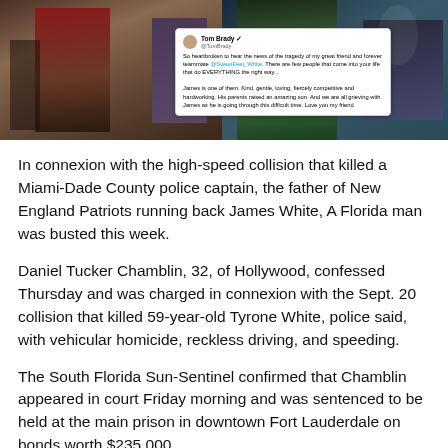[Figure (photo): Two-photo collage: left photo shows people in dark/maroon clothing, right photo shows a football player in action. A Twitter/X post overlay by Tom Brady is visible in the center, expressing condolences about James White and his family.]
In connexion with the high-speed collision that killed a Miami-Dade County police captain, the father of New England Patriots running back James White, A Florida man was busted this week.
Daniel Tucker Chamblin, 32, of Hollywood, confessed Thursday and was charged in connexion with the Sept. 20 collision that killed 59-year-old Tyrone White, police said, with vehicular homicide, reckless driving, and speeding.
The South Florida Sun-Sentinel confirmed that Chamblin appeared in court Friday morning and was sentenced to be held at the main prison in downtown Fort Lauderdale on bonds worth $235,000.